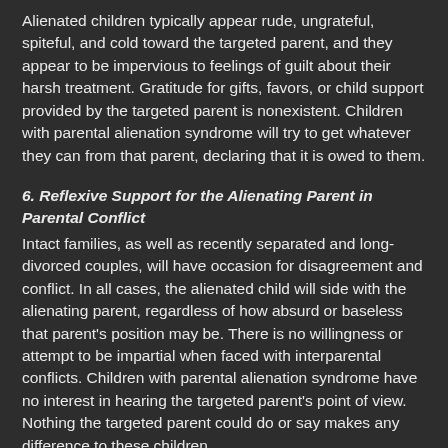Alienated children typically appear rude, ungrateful, spiteful, and cold toward the targeted parent, and they appear to be impervious to feelings of guilt about their harsh treatment. Gratitude for gifts, favors, or child support provided by the targeted parent is nonexistent. Children with parental alienation syndrome will try to get whatever they can from that parent, declaring that it is owed to them.
6. Reflexive Support for the Alienating Parent in Parental Conflict
Intact families, as well as recently separated and long-divorced couples, will have occasion for disagreement and conflict. In all cases, the alienated child will side with the alienating parent, regardless of how absurd or baseless that parent's position may be. There is no willingness or attempt to be impartial when faced with interparental conflicts. Children with parental alienation syndrome have no interest in hearing the targeted parent's point of view. Nothing the targeted parent could do or say makes any difference to these children.
7. Presence of Borrowed Scenarios